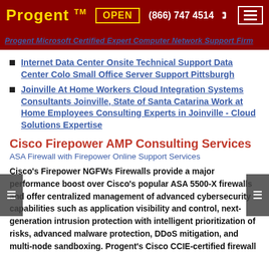Progent™  OPEN  (866) 747 4514  ☎  ≡
Progent Microsoft Certified Expert Computer Network Support Firm
Internet Data Center Onsite Technical Support Data Center Colo Small Office Server Support Pittsburgh
Joinville At Home Workers Cloud Integration Systems Consultants Joinville, State of Santa Catarina Work at Home Employees Consulting Experts in Joinville - Cloud Solutions Expertise
Cisco Firepower AMP Consulting Services
ASA Firewall with Firepower Online Support Services
Cisco's Firepower NGFWs Firewalls provide a major performance boost over Cisco's popular ASA 5500-X firewalls and offer centralized management of advanced cybersecurity capabilities such as application visibility and control, next-generation intrusion protection with intelligent prioritization of risks, advanced malware protection, DDoS mitigation, and multi-node sandboxing. Progent's Cisco CCIE-certified firewall